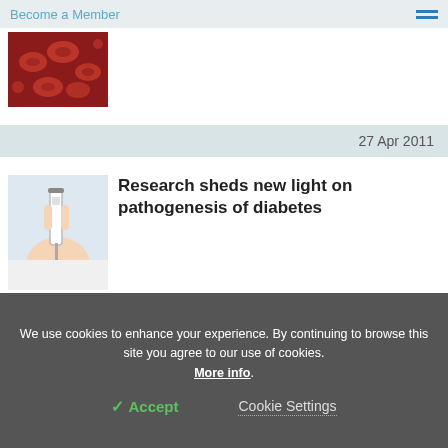Become a Member
[Figure (photo): Close-up photo of red blood cells or medical/biological imagery in red tones]
27 Apr 2011
[Figure (photo): Person injecting insulin or doing a blood sugar test, medical photo]
Research sheds new light on pathogenesis of diabetes
22 Apr 2011
We use cookies to enhance your experience. By continuing to browse this site you agree to our use of cookies. More info.
✓ Accept
Cookie Settings